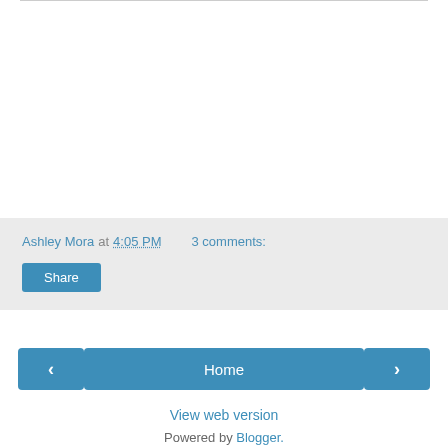Ashley Mora at 4:05 PM    3 comments:
Share
‹   Home   ›
View web version
Powered by Blogger.